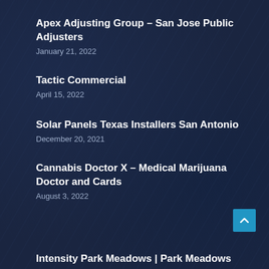Apex Adjusting Group – San Jose Public Adjusters
January 21, 2022
Tactic Commercial
April 15, 2022
Solar Panels Texas Installers San Antonio
December 20, 2021
Cannabis Doctor X – Medical Marijuana Doctor and Cards
August 3, 2022
Intensity Park Meadows | Park Meadows